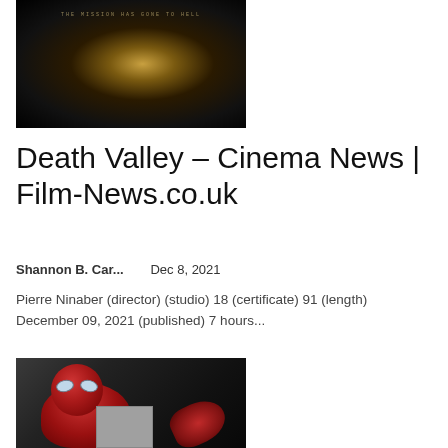[Figure (photo): Dark movie poster for Death Valley with a glowing golden figure against a black background. Text at top reads 'THE MISSION HAS GONE TO HELL'.]
Death Valley – Cinema News | Film-News.co.uk
Shannon B. Car...    Dec 8, 2021
Pierre Ninaber (director) (studio) 18 (certificate) 91 (length) December 09, 2021 (published) 7 hours...
[Figure (photo): Spider-Man character crouching, viewed from behind, wearing the classic red and blue Spider-Man costume.]